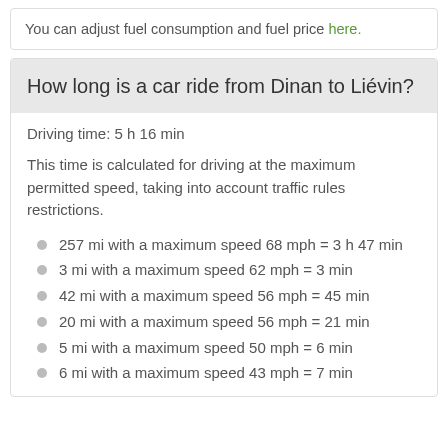You can adjust fuel consumption and fuel price here.
How long is a car ride from Dinan to Liévin?
Driving time: 5 h 16 min
This time is calculated for driving at the maximum permitted speed, taking into account traffic rules restrictions.
257 mi with a maximum speed 68 mph = 3 h 47 min
3 mi with a maximum speed 62 mph = 3 min
42 mi with a maximum speed 56 mph = 45 min
20 mi with a maximum speed 56 mph = 21 min
5 mi with a maximum speed 50 mph = 6 min
6 mi with a maximum speed 43 mph = 7 min